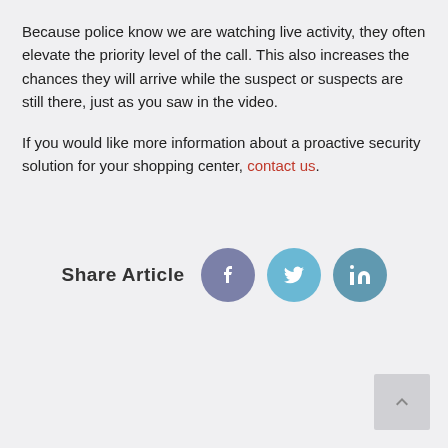Because police know we are watching live activity, they often elevate the priority level of the call. This also increases the chances they will arrive while the suspect or suspects are still there, just as you saw in the video.
If you would like more information about a proactive security solution for your shopping center, contact us.
Share Article
[Figure (infographic): Share Article section with three social media icon buttons: Facebook (purple-grey circle with f), Twitter (light blue circle with bird icon), LinkedIn (blue-grey circle with 'in')]